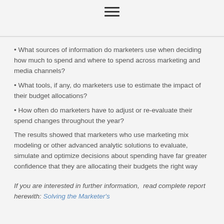≡
• What sources of information do marketers use when deciding how much to spend and where to spend across marketing and media channels?
• What tools, if any, do marketers use to estimate the impact of their budget allocations?
• How often do marketers have to adjust or re-evaluate their spend changes throughout the year?
The results showed that marketers who use marketing mix modeling or other advanced analytic solutions to evaluate, simulate and optimize decisions about spending have far greater confidence that they are allocating their budgets the right way
If you are interested in further information,  read complete report herewith: Solving the Marketer's